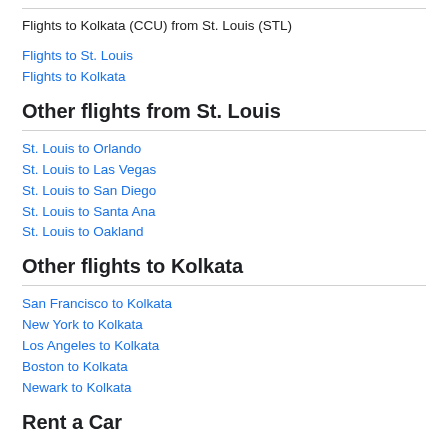Flights to Kolkata (CCU) from St. Louis (STL)
Flights to St. Louis
Flights to Kolkata
Other flights from St. Louis
St. Louis to Orlando
St. Louis to Las Vegas
St. Louis to San Diego
St. Louis to Santa Ana
St. Louis to Oakland
Other flights to Kolkata
San Francisco to Kolkata
New York to Kolkata
Los Angeles to Kolkata
Boston to Kolkata
Newark to Kolkata
Rent a Car